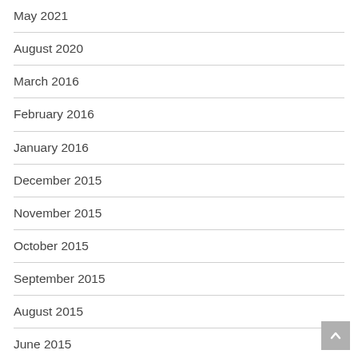May 2021
August 2020
March 2016
February 2016
January 2016
December 2015
November 2015
October 2015
September 2015
August 2015
June 2015